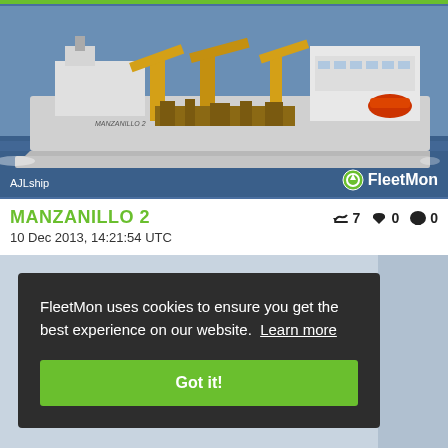[Figure (photo): Photo of the ship MANZANILLO 2, a large grey and yellow dredging vessel at sea, with yellow cranes and equipment on deck. Watermark text 'AJLship' at bottom left and FleetMon logo at bottom right.]
MANZANILLO 2
10 Dec 2013, 14:21:54 UTC
FleetMon uses cookies to ensure you get the best experience on our website. Learn more
Got it!